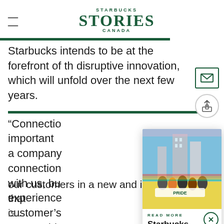STARBUCKS STORIES CANADA
Starbucks intends to be at the forefront of th disruptive innovation, which will unfold over the next few years.
“Connectio… important… a company… connection… with us, bu… experience… customer’s… partnershi…
[Figure (photo): People marching in a Pride parade holding a banner, with tall buildings in the background.]
READ MORE
Starbucks Partners Celebrating Pride Nationwide
our customers in a new and innovative way that is... but also provides a different”